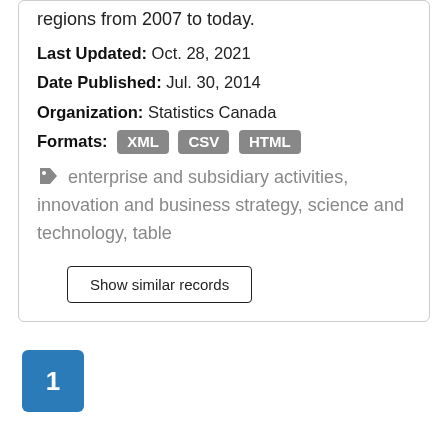regions from 2007 to today.
Last Updated: Oct. 28, 2021
Date Published: Jul. 30, 2014
Organization: Statistics Canada
Formats: XML CSV HTML
enterprise and subsidiary activities, innovation and business strategy, science and technology, table
Show similar records
1